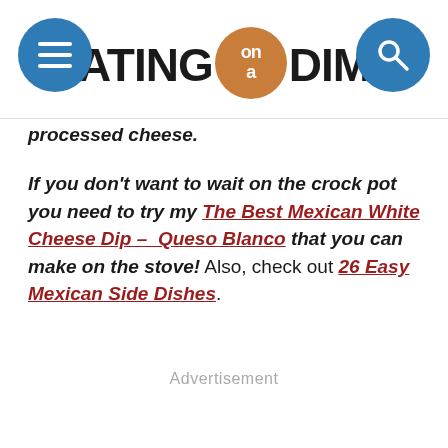[Figure (logo): Eating on a Dime website header logo with hamburger menu icon (blue circle, left), bold text EATING on a DIME with 'on a' in orange circle, and search icon (blue circle, right)]
processed cheese.
If you don't want to wait on the crock pot you need to try my The Best Mexican White Cheese Dip – Queso Blanco that you can make on the stove!  Also, check out 26 Easy Mexican Side Dishes.
Advertisement